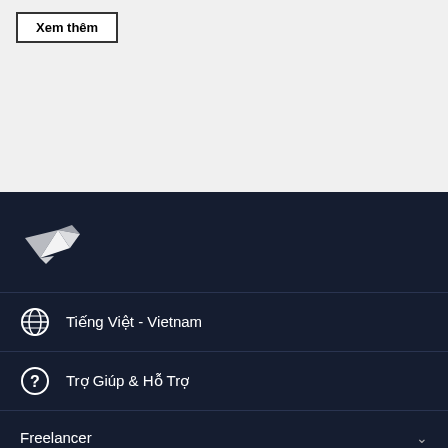Xem thêm
[Figure (logo): Freelancer hummingbird logo in white on dark navy background]
Tiếng Việt - Vietnam
Trợ Giúp & Hỗ Trợ
Freelancer
Giới thiệu
Điều Khoản